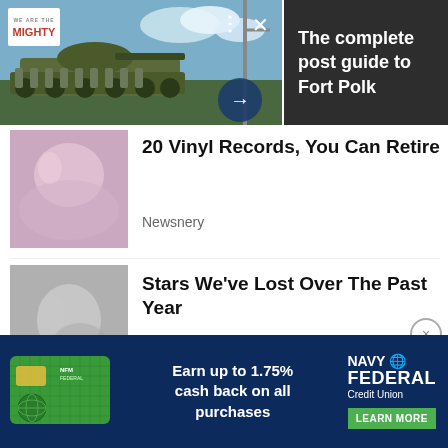[Figure (photo): Military soldiers standing in front of a tank, hero banner image for We Are The Mighty website]
The complete post guide to Fort Polk
[Figure (photo): Thumbnail image with artistic figure, associated with vinyl records article]
20 Vinyl Records, You Can Retire
Newsnery
[Figure (photo): Black and white photo of a female celebrity, associated with Stars article]
Stars We've Lost Over The Past Year
New Arena
[Figure (infographic): Navy Federal Credit Union advertisement: Earn up to 1.75% cash back on all purchases. LEARN MORE button.]